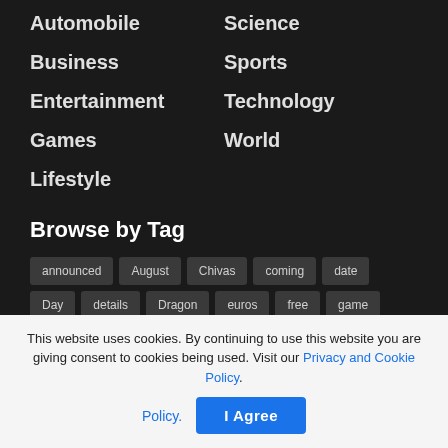Automobile
Science
Business
Sports
Entertainment
Technology
Games
World
Lifestyle
Browse by Tag
announced
August
Chivas
coming
date
Day
details
Dragon
euros
free
game
Games
International football
July
Liga MX
Live
Marvel
Mexican Soccer
million
mobile
Netflix
news
This website uses cookies. By continuing to use this website you are giving consent to cookies being used. Visit our Privacy and Cookie Policy.
I Agree